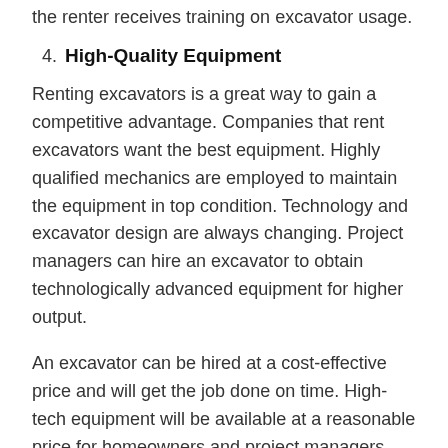the renter receives training on excavator usage.
4. High-Quality Equipment
Renting excavators is a great way to gain a competitive advantage. Companies that rent excavators want the best equipment. Highly qualified mechanics are employed to maintain the equipment in top condition. Technology and excavator design are always changing. Project managers can hire an excavator to obtain technologically advanced equipment for higher output.
An excavator can be hired at a cost-effective price and will get the job done on time. High-tech equipment will be available at a reasonable price for homeowners and project managers who want to hire an excavator.
Excavator Training Schools – Why You Should Enroll